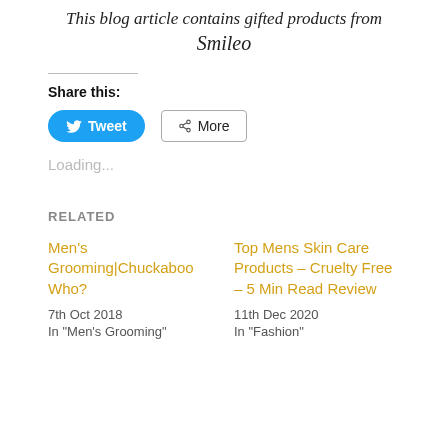This blog article contains gifted products from Smileo
Share this:
Tweet  More
Loading...
RELATED
Men's Grooming|Chuckaboo Who?
7th Oct 2018
In "Men's Grooming"
Top Mens Skin Care Products – Cruelty Free – 5 Min Read Review
11th Dec 2020
In "Fashion"